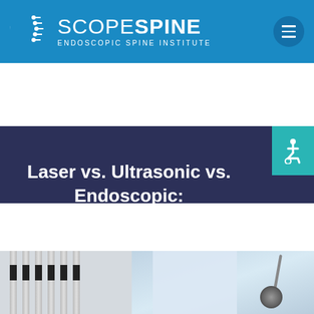SCOPE SPINE — ENDOSCOPIC SPINE INSTITUTE
Laser vs. Ultrasonic vs. Endoscopic: What is the difference?
[Figure (photo): Doctor in white coat with stethoscope, seated, with filing cabinet background]